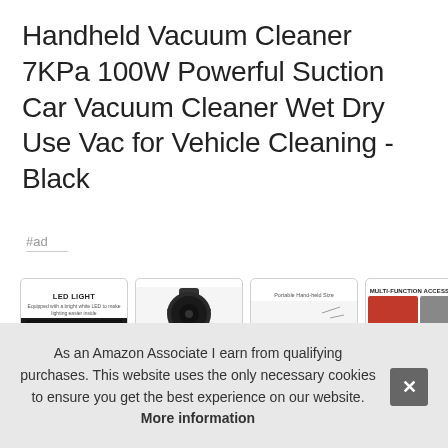Handheld Vacuum Cleaner 7KPa 100W Powerful Suction Car Vacuum Cleaner Wet Dry Use Vac for Vehicle Cleaning - Black
#ad
[Figure (photo): Four product thumbnail images of the vacuum cleaner showing: LED Light feature, 100W brush head, Portable Hand-held Size view, and Multi-Function Accessories grid]
Gen
filte
As an Amazon Associate I earn from qualifying purchases. This website uses the only necessary cookies to ensure you get the best experience on our website. More information